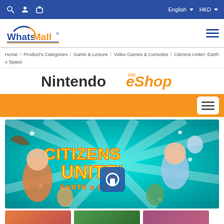WhatsMall navigation bar with search, account, cart icons and English / HKD selectors
[Figure (logo): WhatsMall logo with blue and orange text and arc graphic]
Home / Product's Categories / Game & Leisure / Video Games & Consoles / Citizens Unite!: Earth x Space
[Figure (logo): Nintendo eShop logo in dark gray and orange italic text]
[Figure (screenshot): Citizens Unite!: Earth x Space game banner — colorful cartoon characters on teal background with 'CITIZENS UNITE! EARTH x SPACE' title text]
[Figure (screenshot): Row of three small game thumbnail images at the bottom]